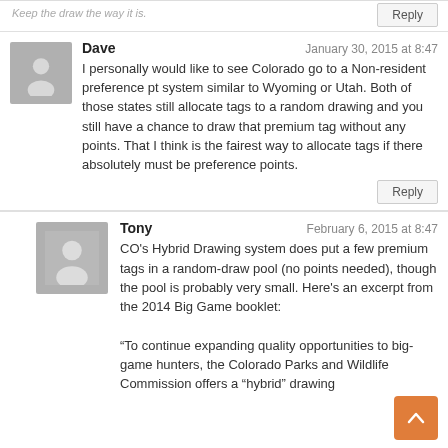Keep the draw the way it is.
Reply
Dave
January 30, 2015 at 8:47
I personally would like to see Colorado go to a Non-resident preference pt system similar to Wyoming or Utah. Both of those states still allocate tags to a random drawing and you still have a chance to draw that premium tag without any points. That I think is the fairest way to allocate tags if there absolutely must be preference points.
Reply
Tony
February 6, 2015 at 8:47
CO's Hybrid Drawing system does put a few premium tags in a random-draw pool (no points needed), though the pool is probably very small. Here's an excerpt from the 2014 Big Game booklet:
“To continue expanding quality opportunities to big-game hunters, the Colorado Parks and Wildlife Commission offers a “hybrid” drawing